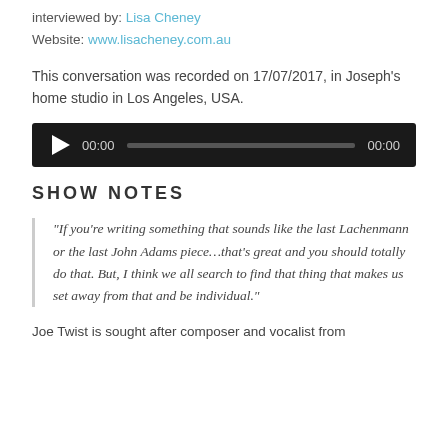interviewed by: Lisa Cheney
Website: www.lisacheney.com.au
This conversation was recorded on 17/07/2017, in Joseph's home studio in Los Angeles, USA.
[Figure (other): Audio player widget with play button, time display 00:00, progress bar, and end time 00:00 on a dark background]
SHOW NOTES
“If you’re writing something that sounds like the last Lachenmann or the last John Adams piece…that’s great and you should totally do that. But, I think we all search to find that thing that makes us set away from that and be individual.”
Joe Twist is sought after composer and vocalist from